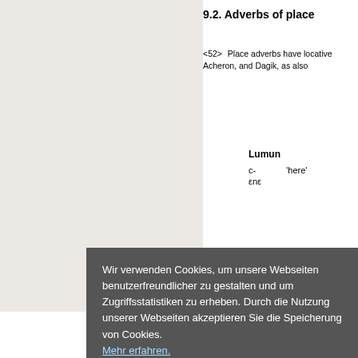9.2. Adverbs of place
<52> Place adverbs have locative Acheron, and Dagik, as also
| Lumun |  |  |
| --- | --- | --- |
| c- |  | 'here' |
| εnε |  |  |
Wir verwenden Cookies, um unsere Webseiten benutzerfreundlicher zu gestalten und um Zugriffsstatistiken zu erheben. Durch die Nutzung unserer Webseiten akzeptieren Sie die Speicherung von Cookies.
Mehr erfahren.
Cookies akzeptieren
'down' ɪ, t-εn